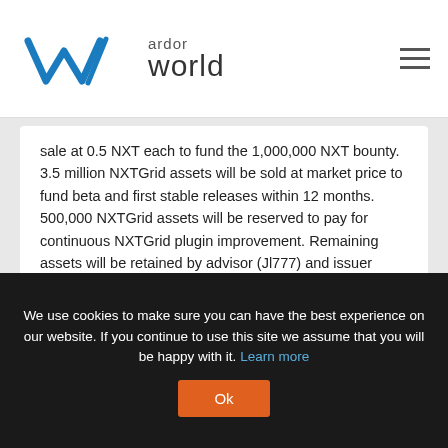ardor world
sale at 0.5 NXT each to fund the 1,000,000 NXT bounty. 3.5 million NXTGrid assets will be sold at market price to fund beta and first stable releases within 12 months. 500,000 NXTGrid assets will be reserved to pay for continuous NXTGrid plugin improvement. Remaining assets will be retained by advisor (Jl777) and issuer (yin). Participate and earn bounties on https://nxtforum.org/nxtgrid/. If ever anything significant changes, it will be posted in the provided NXTGrid thread with at least 30 days notice.
Sell NXTGrid for NXT - Open Buy
We use cookies to make sure you can have the best experience on our website. If you continue to use this site we assume that you will be happy with it. Learn more Ok